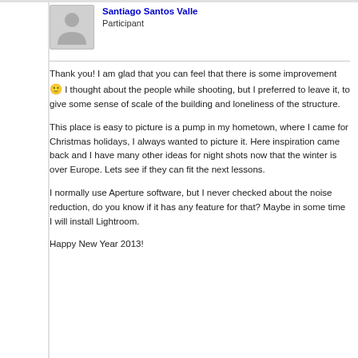[Figure (photo): Default user avatar placeholder image — grey silhouette of a person on light grey background]
Santiago Santos Valle
Participant
Thank you! I am glad that you can feel that there is some improvement 🙂 I thought about the people while shooting, but I preferred to leave it, to give some sense of scale of the building and loneliness of the structure.
This place is easy to picture is a pump in my hometown, where I came for Christmas holidays, I always wanted to picture it. Here inspiration came back and I have many other ideas for night shots now that the winter is over Europe. Lets see if they can fit the next lessons.
I normally use Aperture software, but I never checked about the noise reduction, do you know if it has any feature for that? Maybe in some time I will install Lightroom.
Happy New Year 2013!